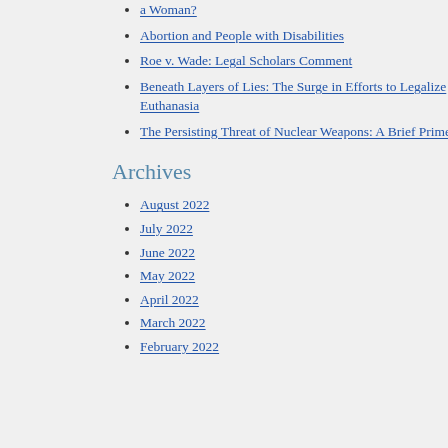a Woman?
Abortion and People with Disabilities
Roe v. Wade: Legal Scholars Comment
Beneath Layers of Lies: The Surge in Efforts to Legalize Euthanasia
The Persisting Threat of Nuclear Weapons: A Brief Primer
Archives
August 2022
July 2022
June 2022
May 2022
April 2022
March 2022
February 2022